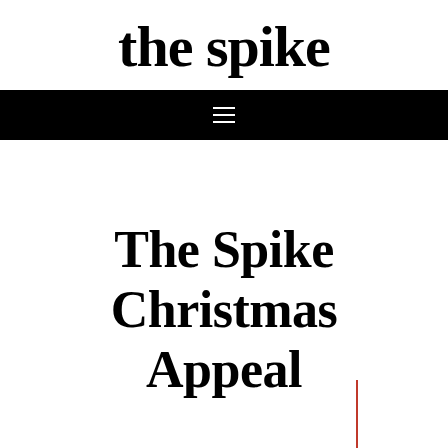the spike
☰
The Spike Christmas Appeal